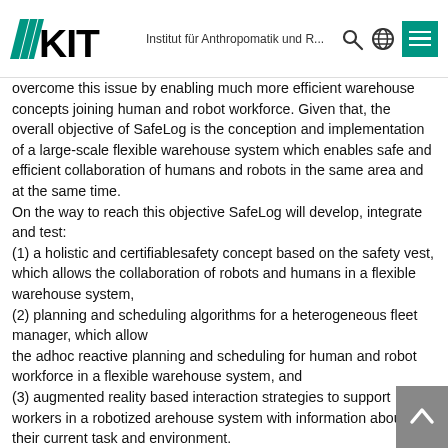KIT — Institut für Anthropomatik und R...
overcome this issue by enabling much more efficient warehouse concepts joining human and robot workforce. Given that, the overall objective of SafeLog is the conception and implementation of a large-scale flexible warehouse system which enables safe and efficient collaboration of humans and robots in the same area and at the same time.
On the way to reach this objective SafeLog will develop, integrate and test:
(1) a holistic and certifiablesafety concept based on the safety vest, which allows the collaboration of robots and humans in a flexible warehouse system,
(2) planning and scheduling algorithms for a heterogeneous fleet manager, which allow
the adhoc reactive planning and scheduling for human and robot workforce in a flexible warehouse system, and
(3) augmented reality based interaction strategies to support workers in a robotized arehouse system with information about their current task and environment.